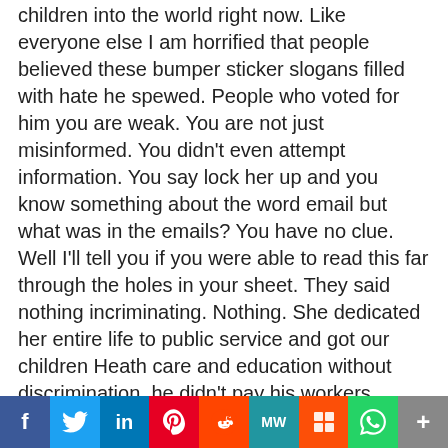children into the world right now. Like everyone else I am horrified that people believed these bumper sticker slogans filled with hate he spewed. People who voted for him you are weak. You are not just misinformed. You didn't even attempt information. You say lock her up and you know something about the word email but what was in the emails? You have no clue. Well I'll tell you if you were able to read this far through the holes in your sheet. They said nothing incriminating. Nothing. She dedicated her entire life to public service and got our children Heath care and education without discrimination. he didn't pay his workers. Started a fake college. Ripped people off. Never paid his taxes and sexually assaulted women and on and on She would have taken care of us. I personally would have had to pay higher taxes. All the celebrities backing her would have. People asked
Well, a conservative group went ahead and put up ads to auction her items to facilitate her move to
f  Twitter  in  Pinterest  Reddit  MW  Mix  WhatsApp  +